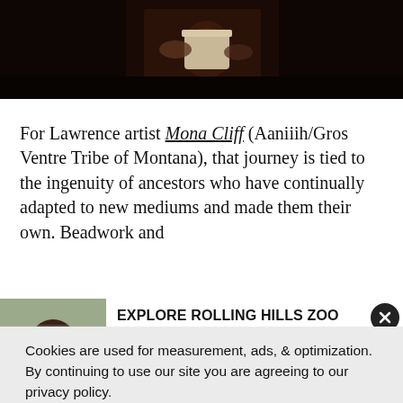[Figure (photo): Dark photograph showing hands and a cup/container, dimly lit scene]
For Lawrence artist Mona Cliff (Aaniiih/Gros Ventre Tribe of Montana), that journey is tied to the ingenuity of ancestors who have continually adapted to new mediums and made them their own. Beadwork and
[Figure (photo): Advertisement banner for Rolling Hills Zoo showing a chimpanzee photo on the left. Text reads: EXPLORE ROLLING HILLS ZOO. See 100+ different species of animals, visit the museum, and more!]
Cookies are used for measurement, ads, & optimization. By continuing to use our site you are agreeing to our privacy policy.
ACCEPT